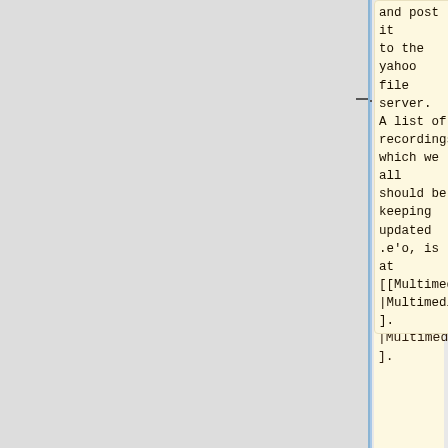and post it to the yahoo file server. A list of recordings, which we all should be keeping updated .e'o, is at [[Multimedia|Multimedia].
----
'''others?'' '